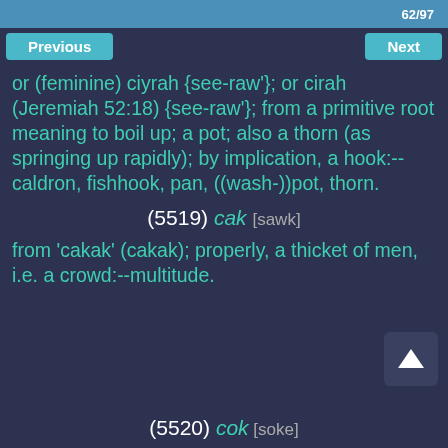62/97
Previous    Next
or (feminine) ciyrah {see-raw'}; or cirah (Jeremiah 52:18) {see-raw'}; from a primitive root meaning to boil up; a pot; also a thorn (as springing up rapidly); by implication, a hook:--caldron, fishhook, pan, ((wash-))pot, thorn.
(5519) cak [sawk]
from 'cakak' (cakak); properly, a thicket of men, i.e. a crowd:--multitude.
(5520) cok [soke]